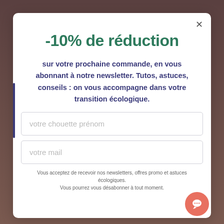[Figure (screenshot): Background image of a webpage partially visible behind a modal popup]
-10% de réduction
sur votre prochaine commande, en vous abonnant à notre newsletter. Tutos, astuces, conseils : on vous accompagne dans votre transition écologique.
votre chouette prénom
votre mail
Vous acceptez de recevoir nos newsletters, offres promo et astuces écologiques. Vous pourrez vous désabonner à tout moment.